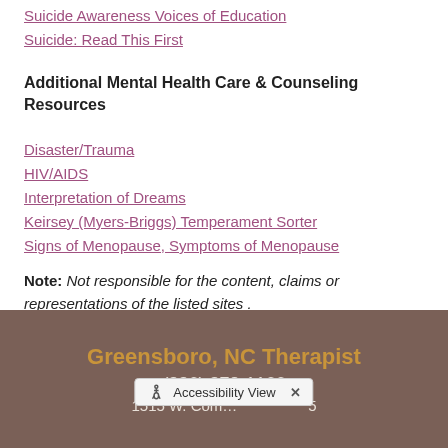Suicide Awareness Voices of Education
Suicide: Read This First
Additional Mental Health Care & Counseling Resources
Disaster/Trauma
HIV/AIDS
Interpretation of Dreams
Keirsey (Myers-Briggs) Temperament Sorter
Signs of Menopause, Symptoms of Menopause
Note: Not responsible for the content, claims or representations of the listed sites .
Greensboro, NC Therapist
(336) 378-1166
1515 W. Com... Suite 5